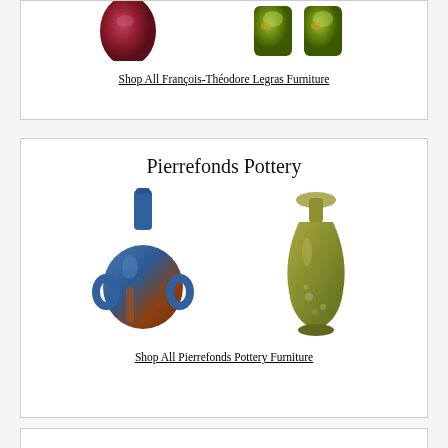[Figure (photo): Two ceramic/glass items from François-Théodore Legras — a dark red/purple vase on left and two green vases on right, partially visible at top of page]
Shop All François-Théodore Legras Furniture
Pierrefonds Pottery
[Figure (photo): Two Pierrefonds Pottery ceramic vases — a blue/rust double-handled amphora-style vase on left, and a tall slender green/yellow vase with flared neck on right]
Shop All Pierrefonds Pottery Furniture